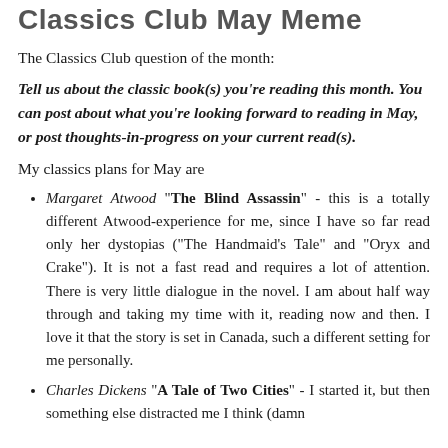Classics Club May Meme
The Classics Club question of the month:
Tell us about the classic book(s) you're reading this month. You can post about what you're looking forward to reading in May, or post thoughts-in-progress on your current read(s).
My classics plans for May are
Margaret Atwood "The Blind Assassin" - this is a totally different Atwood-experience for me, since I have so far read only her dystopias ("The Handmaid's Tale" and "Oryx and Crake"). It is not a fast read and requires a lot of attention. There is very little dialogue in the novel. I am about half way through and taking my time with it, reading now and then. I love it that the story is set in Canada, such a different setting for me personally.
Charles Dickens "A Tale of Two Cities" - I started it, but then something else distracted me I think (damn